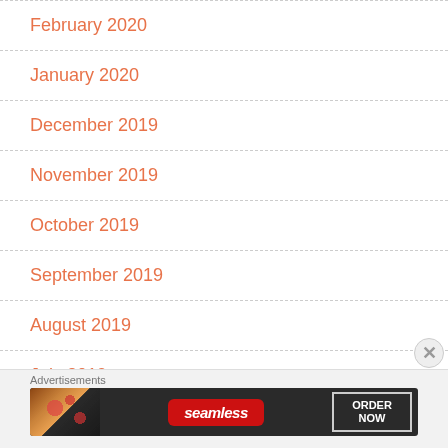February 2020
January 2020
December 2019
November 2019
October 2019
September 2019
August 2019
July 2019
Advertisements
[Figure (infographic): Seamless food delivery advertisement banner with pizza image, Seamless logo, and ORDER NOW button]